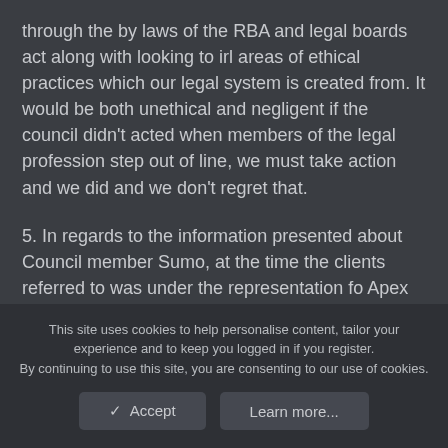through the by laws of the RBA and legal boards act along with looking to irl areas of ethical practices which our legal system is created from. It would be both unethical and negligent if the council didn't acted when members of the legal profession step out of line, we must take action and we did and we don't regret that.
5. In regards to the information presented about Council member Sumo, at the time the clients referred to was under the representation fo Apex law firm owned by sumo, it is his right to protect clients at his firm for its reputation and for the
This site uses cookies to help personalise content, tailor your experience and to keep you logged in if you register.
By continuing to use this site, you are consenting to our use of cookies.